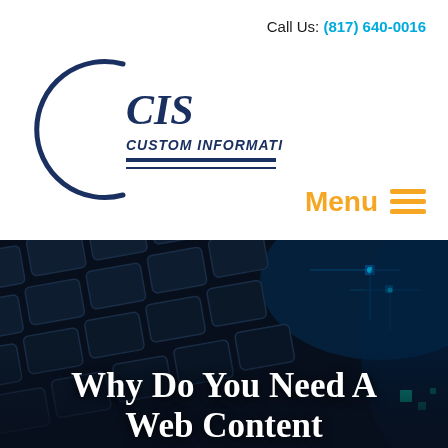Call Us: (817) 640-0016
[Figure (logo): CIS Custom Information Services logo — circular arc on the left with bold CIS text, CUSTOM INFORMATION SERVICES in bold italic below, two horizontal navy lines beneath]
Menu ≡
[Figure (photo): Dark close-up photograph of a computer keyboard with blue circuit-like lighting effects]
Why Do You Need A Web Content